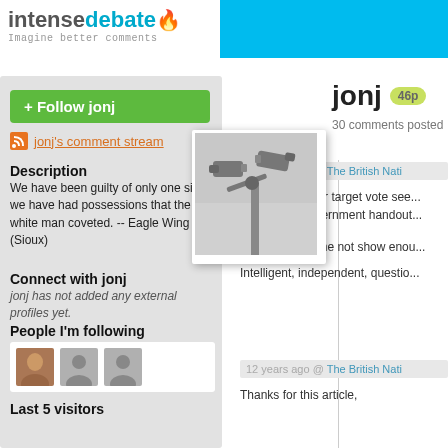IntenseDebate - Imagine better comments
[Figure (screenshot): IntenseDebate logo with flame icon and tagline 'Imagine better comments', blue bar extending right]
+ Follow jonj
jonj's comment stream
Description
We have been guilty of only one sin - we have had possessions that the white man coveted. -- Eagle Wing (Sioux)
Connect with jonj
jonj has not added any external profiles yet.
People I'm following
[Figure (photo): Three user avatar thumbnails in a white box]
Last 5 visitors
[Figure (photo): Profile photo of security cameras on a pole, polaroid style]
jonj  46p
30 comments posted
12 years ago @ The British Nati...
The core Labour target vote see... benevolent government handout...
How dare anyone not show enou...
Intelligent, independent, questio...
12 years ago @ The British Nati...
Thanks for this article,